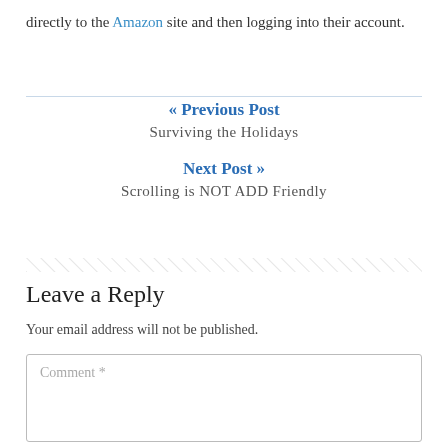directly to the Amazon site and then logging into their account.
« Previous Post
Surviving the Holidays
Next Post »
Scrolling is NOT ADD Friendly
Leave a Reply
Your email address will not be published.
Comment *